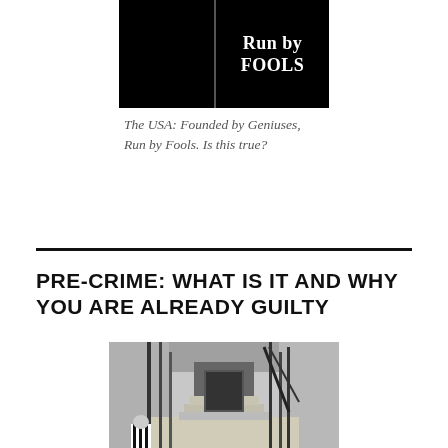[Figure (photo): Black book cover image split into two halves: left half solid black, right half with white bold text reading 'Run by FOOLS']
The USA: Founded by Geniuses, Run by Fools. Is this true?
PRE-CRIME: WHAT IS IT AND WHY YOU ARE ALREADY GUILTY
[Figure (photo): Black and white photograph of a prison corridor with iron bars, gates, and a staircase. A figure in striped prison uniform is visible at the bottom and a vertical text 'End Time Prophecy' is visible on the right side.]